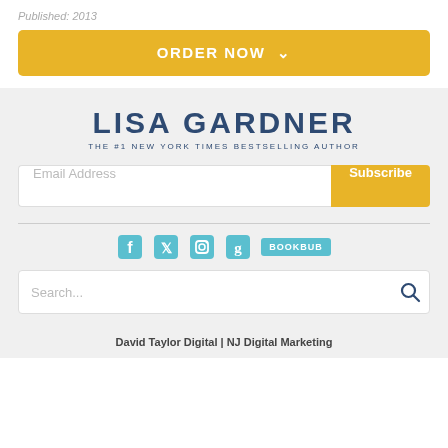Published: 2013
ORDER NOW ˅
LISA GARDNER
THE #1 NEW YORK TIMES BESTSELLING AUTHOR
Email Address
Subscribe
[Figure (infographic): Social media icons: Facebook, Twitter, Instagram, Goodreads, and BookBub badge]
Search...
David Taylor Digital | NJ Digital Marketing